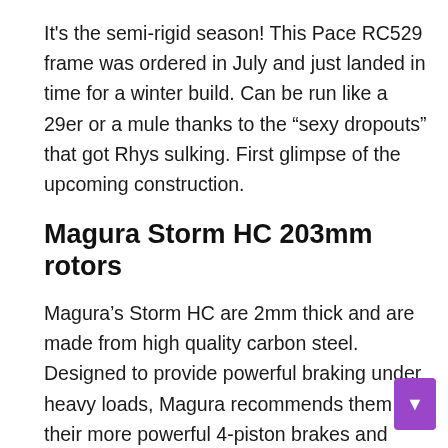It's the semi-rigid season! This Pace RC529 frame was ordered in July and just landed in time for a winter build. Can be run like a 29er or a mule thanks to the “sexy dropouts” that got Rhys sulking. First glimpse of the upcoming construction.
Magura Storm HC 203mm rotors
Magura’s Storm HC are 2mm thick and are made from high quality carbon steel. Designed to provide powerful braking under heavy loads, Magura recommends them for their more powerful 4-piston brakes and also for e-bikes.